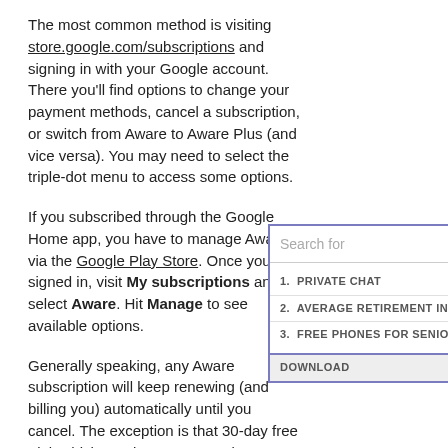The most common method is visiting store.google.com/subscriptions and signing in with your Google account. There you'll find options to change your payment methods, cancel a subscription, or switch from Aware to Aware Plus (and vice versa). You may need to select the triple-dot menu to access some options.
If you subscribed through the Google Home app, you have to manage Aware via the Google Play Store. Once you're signed in, visit My subscriptions and select Aware. Hit Manage to see available options.
Generally speaking, any Aware subscription will keep renewing (and billing you) automatically until you cancel. The exception is that 30-day free trial, which requires you to opt into payments to keep going. When you cancel, Aware will remain active until the end of your current billing period, whether it's a month or a year.
Should you pay for Nest Aware?
[Figure (screenshot): Search overlay panel with items: 1. PRIVATE CHAT, 2. AVERAGE RETIREMENT IN, 3. FREE PHONES FOR SENIO, and a footer DOWNLOAD]